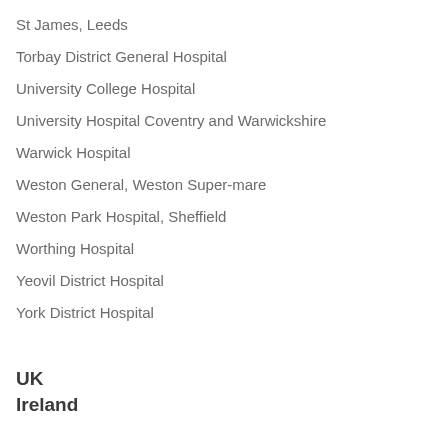St James, Leeds
Torbay District General Hospital
University College Hospital
University Hospital Coventry and Warwickshire
Warwick Hospital
Weston General, Weston Super-mare
Weston Park Hospital, Sheffield
Worthing Hospital
Yeovil District Hospital
York District Hospital
UK
Ireland